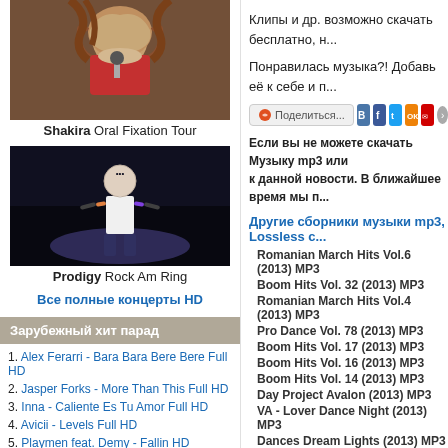[Figure (photo): Shakira performing on stage with curly hair and microphone]
Shakira Oral Fixation Tour
[Figure (photo): Prodigy performer on stage with tattoos and outstretched arms]
Prodigy Rock Am Ring
Все полные концерты HD
Зарубежный хит парад
1. Alex Ferarri - Bara Bara Bere Bere Full HD
2. Jasper Forks - More Than This Full HD
3. Inna - Caliente Es Tu Amor Full HD
4. Avicii - Levels Full HD
5. Playmen feat. Demy - Fallin HD
Клипы и др. возможно скачать бесплатно, н...
Понравилась музыка?! Добавь её к себе и п...
Поделиться...
Если вы не можете скачать Музыку mp3 или... к данной новости. В ближайшее время мы п...
Другие сборники музыки mp3, Lossless с...
Romanian March Hits Vol.6 (2013) MP3
Boom Hits Vol. 32 (2013) MP3
Romanian March Hits Vol.4 (2013) MP3
Pro Dance Vol. 78 (2013) MP3
Boom Hits Vol. 17 (2013) MP3
Boom Hits Vol. 16 (2013) MP3
Boom Hits Vol. 14 (2013) MP3
Day Project Avalon (2013) MP3
VA - Lover Dance Night (2013) MP3
Dances Dream Lights (2013) MP3